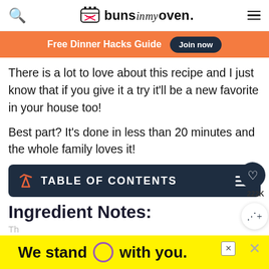buns in my oven.
Free Dinner Hacks Guide  Join now
There is a lot to love about this recipe and I just know that if you give it a try it'll be a new favorite in your house too!
Best part? It's done in less than 20 minutes and the whole family loves it!
TABLE OF CONTENTS
Ingredient Notes:
We stand O with you.